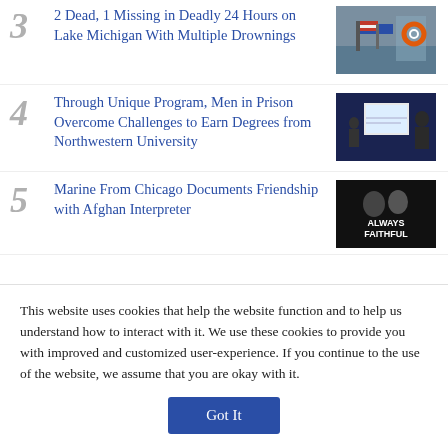3 2 Dead, 1 Missing in Deadly 24 Hours on Lake Michigan With Multiple Drownings
[Figure (photo): Thumbnail image showing dock/water scene with life preserver and flags]
4 Through Unique Program, Men in Prison Overcome Challenges to Earn Degrees from Northwestern University
[Figure (photo): Thumbnail image showing people in a room with a projector screen]
5 Marine From Chicago Documents Friendship with Afghan Interpreter
[Figure (photo): Thumbnail image with text 'Always Faithful' on dark background]
This website uses cookies that help the website function and to help us understand how to interact with it. We use these cookies to provide you with improved and customized user-experience. If you continue to the use of the website, we assume that you are okay with it.
Got It